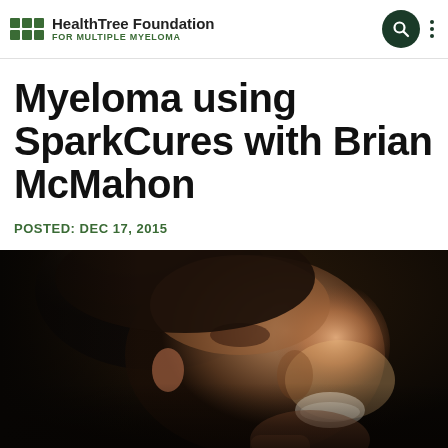HealthTree Foundation FOR MULTIPLE MYELOMA
Myeloma using SparkCures with Brian McMahon
POSTED: DEC 17, 2015
[Figure (photo): Close-up photo of a smiling young man with dark hair, shot in low-key lighting with dark background, profile/three-quarter view]